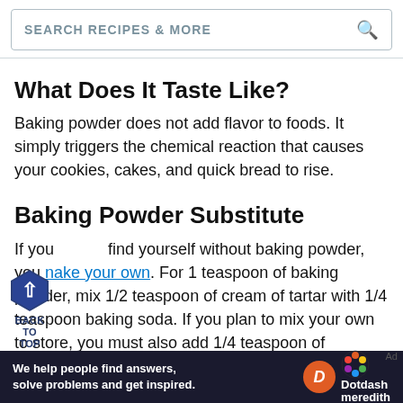SEARCH RECIPES & MORE
What Does It Taste Like?
Baking powder does not add flavor to foods. It simply triggers the chemical reaction that causes your cookies, cakes, and quick bread to rise.
Baking Powder Substitute
If you find yourself without baking powder, you make your own. For 1 teaspoon of baking powder, mix 1/2 teaspoon of cream of tartar with 1/4 teaspoon baking soda. If you plan to mix your own to store, you must also add 1/4 teaspoon of
[Figure (other): Back to Top navigation button — a dark blue hexagon with an upward arrow, and text BACK TO TOP below]
[Figure (other): Dotdash Meredith advertisement banner at bottom of page — dark background, orange D logo, colorful flower logo, text 'We help people find answers, solve problems and get inspired.']